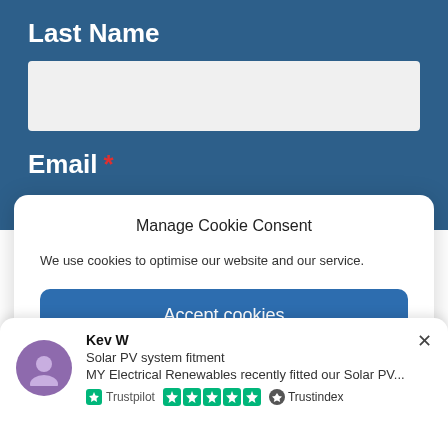Last Name
[Figure (other): Empty text input field for Last Name]
Email *
Manage Cookie Consent
We use cookies to optimise our website and our service.
Accept cookies
Kev W
Solar PV system fitment
MY Electrical Renewables recently fitted our Solar PV...
Trustpilot ★★★★★ Trustindex